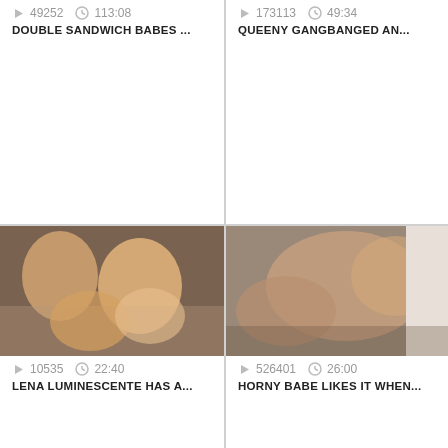[Figure (screenshot): Video thumbnail placeholder top-left with play count 49252 and duration 113:08, title DOUBLE SANDWICH BABES ...]
[Figure (screenshot): Video thumbnail placeholder top-right with play count 173113 and duration 49:34, title QUEENY GANGBANGED AN...]
[Figure (photo): Video thumbnail middle-left showing people, play count 10535, duration 22:40, title LENA LUMINESCENTE HAS A...]
[Figure (photo): Video thumbnail middle-right showing people, play count 526401, duration 26:00, title HORNY BABE LIKES IT WHEN...]
[Figure (photo): Video thumbnail bottom-left partial, showing people]